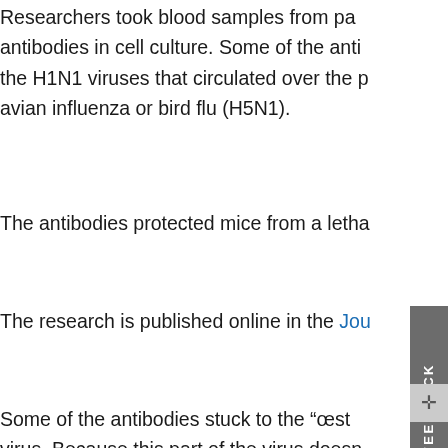Researchers took blood samples from patients and tested the antibodies in cell culture. Some of the antibodies reacted with the H1N1 viruses that circulated over the past century, and with avian influenza or bird flu (H5N1).
The antibodies protected mice from a lethal dose of influenza.
The research is published online in the Journal of Experimental Medicine.
Some of the antibodies stuck to the “stalk” region of the hemagglutinin protein of the virus. Because this part of the virus doesn’t change much, researchers have proposed to make it the basis for a vaccine. The current results could guide researchers in designing a vaccine that would work against many strains of flu viruses.
The paper’s first author, Emory School of Medicine’s Patrick Wilson, PhD, shows that infection with the 2009 pandemic flu strain produces antibodies that are very rarely seen after seasonal flu infection. “If these broadly reactive antibodies can be induced in humans, if the right immunogen is used, a pan-influenza vaccine might be feasible.”
Rafi Ahmed, PhD, director of the Emory Vaccine Center